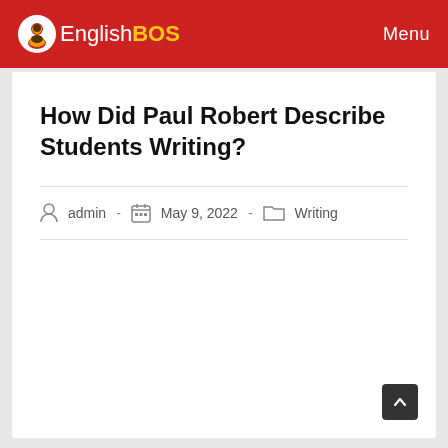EnglishBOS — Menu
How Did Paul Robert Describe Students Writing?
admin · May 9, 2022 · Writing